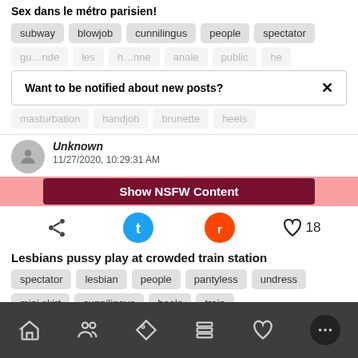Sex dans le métro parisien!
subway
blowjob
cunnilingus
people
spectator
Want to be notified about new posts?
Unknown
11/27/2020, 10:29:31 AM
Show NSFW Content
Lesbians pussy play at crowded train station
spectator
lesbian
people
pantyless
undress
mini skirt
cunnilingus
heels
train
Home | People | Tag | Archive | Favorites | More